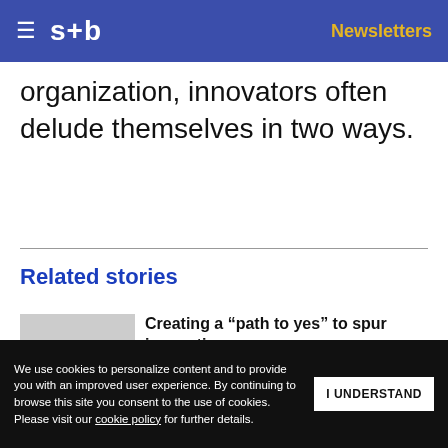s+b  Newsletters
organization, innovators often delude themselves in two ways.
Related stories
Creating a “path to yes” to spur innovation by Adam Bryant
Get s+b’s award-winning newsletter delivered to your inbox.
We use cookies to personalize content and to provide you with an improved user experience. By continuing to browse this site you consent to the use of cookies. Please visit our cookie policy for further details.